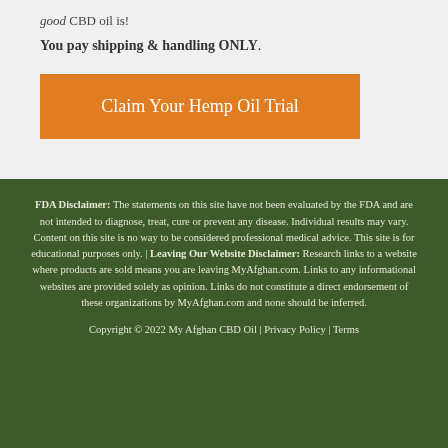good CBD oil is!
You pay shipping & handling ONLY.
[Figure (other): Orange call-to-action button labeled 'Claim Your Hemp Oil Trial']
FDA Disclaimer: The statements on this site have not been evaluated by the FDA and are not intended to diagnose, treat, cure or prevent any disease. Individual results may vary. Content on this site is no way to be considered professional medical advice. This site is for educational purposes only. | Leaving Our Website Disclaimer: Research links to a website where products are sold means you are leaving MyAfghan.com. Links to any informational websites are provided solely as opinion. Links do not constitute a direct endorsement of these organizations by MyAfghan.com and none should be inferred.
Copyright © 2022 My Afghan CBD Oil | Privacy Policy | Terms